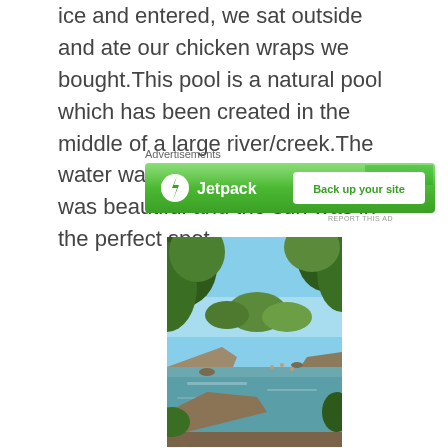ice and entered, we sat outside and ate our chicken wraps we bought.This pool is a natural pool which has been created in the middle of a large river/creek.The water was incredibly cold, but it was beautiful and the sun was in the perfect spot.
Advertisements
[Figure (illustration): Jetpack advertisement banner with green background, Jetpack logo with lightning bolt icon on left, and 'Back up your site' button on right]
[Figure (photo): Outdoor nature photo showing a natural swimming pool/creek surrounded by trees, with clear water and rocky banks on a sunny day]